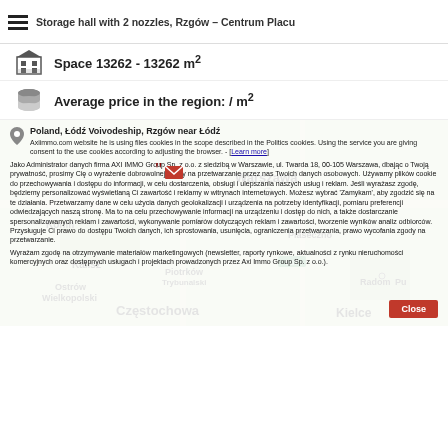Storage hall with 2 nozzles, Rzgów – Centrum Placu
Space 13262 - 13262 m²
Average price in the region: / m²
Poland, Łódź Voivodeship, Rzgów near Łódź
Axiimmo.com website he is using files cookies in the scope described in the Politics cookies. Using the service you are giving consent to the use cookies according to adjusting the browser. - [Learn more]
Jako Administrator danych firma AXI IMMO Group Sp. z o.o. z siedzibą w Warszawie, ul. Twarda 18, 00-105 Warszawa, dbając o Twoją prywatność, prosimy Cię o wyrażenie dobrowolnej zgody na przetwarzanie przez nas Twoich danych osobowych. Używamy plików cookie do przechowywania i dostępu do informacji, w celu dostarczenia, obsługi i ulepszania naszych usług i reklam. Jeśli wyrażasz zgodę, będziemy personalizować wyświetlaną Ci zawartość i reklamy w witrynach internetowych. Możesz wybrać 'Zamykam', aby zgodzić się na te działania. Przetwarzamy dane w celu użycia danych geolokalizacji i urządzenia na potrzeby identyfikacji, pomiaru preferencji odwiedzających naszą stronę. Ma to na celu przechowywanie informacji na urządzeniu i dostęp do nich, a także dostarczanie spersonalizowanych reklam i zawartości, wykonywanie pomiarów dotyczących reklam i zawartości, tworzenie wyników analiz odbiorców. Przysługuje Ci prawo do dostępu Twoich danych, ich sprostowania, usunięcia, ograniczenia przetwarzania, prawo wycofania zgody na przetwarzanie.
Wyrażam zgodę na otrzymywanie materiałów marketingowych (newsletter, raporty rynkowe, aktualności z rynku nieruchomości komercyjnych oraz dostępnych usługach i projektach prowadzonych przez Axi Immo Group Sp. z o.o.).
[Figure (map): Map showing Poland, Łódź Voivodeship, Rzgów near Łódź area with cities including Warszawa, Konin, Kalisz, Częstochowa, Kielce, Radom, Ostrow Wielkopolski, Piotrków Trybunalski, Piasteczno visible]
Close